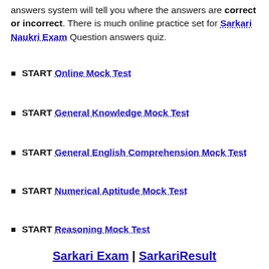answers system will tell you where the answers are correct or incorrect. There is much online practice set for Sarkari Naukri Exam Question answers quiz.
START Online Mock Test
START General Knowledge Mock Test
START General English Comprehension Mock Test
START Numerical Aptitude Mock Test
START Reasoning Mock Test
Sarkari Exam | SarkariResult